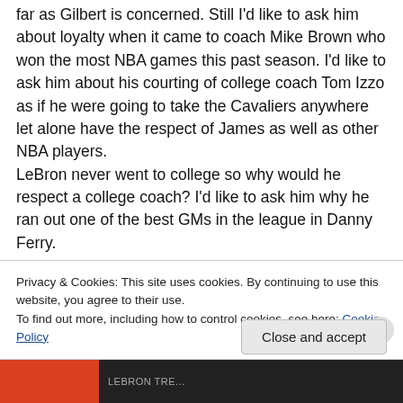far as Gilbert is concerned.  Still I'd like to ask him about loyalty when it came to coach Mike Brown who won the most NBA games this past season.  I'd like to ask him about his courting of college coach Tom Izzo as if he were going to take the Cavaliers anywhere let alone have the respect of James as well as other NBA players. LeBron never went to college so why would he respect a college coach?  I'd like to ask him why he ran out one of the best GMs in the league in Danny Ferry.

Is Gilbert the pot or the kettle that's all I'm asking here. Now he's barking off about how LeBron quit in the playoffs
Privacy & Cookies: This site uses cookies. By continuing to use this website, you agree to their use.
To find out more, including how to control cookies, see here: Cookie Policy
Close and accept